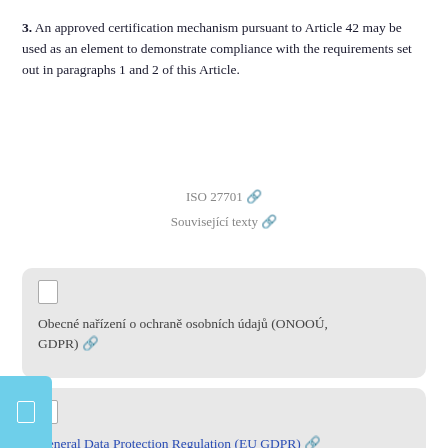3. An approved certification mechanism pursuant to Article 42 may be used as an element to demonstrate compliance with the requirements set out in paragraphs 1 and 2 of this Article.
ISO 27701 🔗
Související texty 🔗
Obecné nařízení o ochraně osobních údajů (ONOOÚ, GDPR) 🔗
General Data Protection Regulation (EU GDPR) 🔗